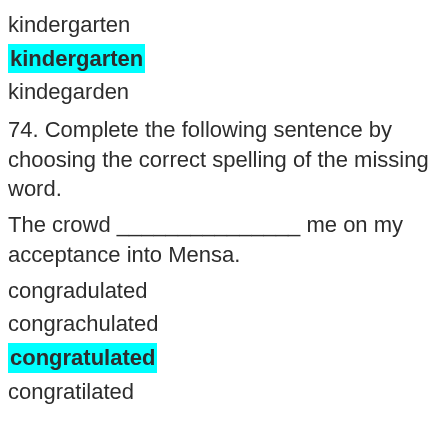kindergarten
kindergarten (highlighted/correct)
kindegarden
74. Complete the following sentence by choosing the correct spelling of the missing word.
The crowd _______________ me on my acceptance into Mensa.
congradulated
congrachulated
congratulated (highlighted/correct)
congratilated